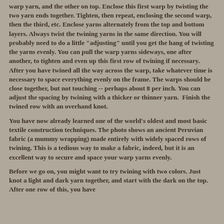warp yarn, and the other on top. Enclose this first warp by twisting the two yarn ends together. Tighten, then repeat, enclosing the second warp, then the third, etc. Enclose yarns alternately from the top and bottom layers. Always twist the twining yarns in the same direction. You will probably need to do a little "adjusting" until you get the hang of twisting the yarns evenly. You can pull the warp yarns sideways, one after another, to tighten and even up this first row of twining if necessary. After you have twined all the way across the warp, take whatever time is necessary to space everything evenly on the frame. The warps should be close together, but not touching -- perhaps about 8 per inch. You can adjust the spacing by twining with a thicker or thinner yarn.  Finish the twined row with an overhand knot.
You have now already learned one of the world's oldest and most basic textile construction techniques. The photo shows an ancient Peruvian fabric (a mummy wrapping) made entirely with widely spaced rows of twining. This is a tedious way to make a fabric, indeed, but it is an excellent way to secure and space your warp yarns evenly.
Before we go on, you might want to try twining with two colors. Just knot a light and dark yarn together, and start with the dark on the top. After one row of this, you have...